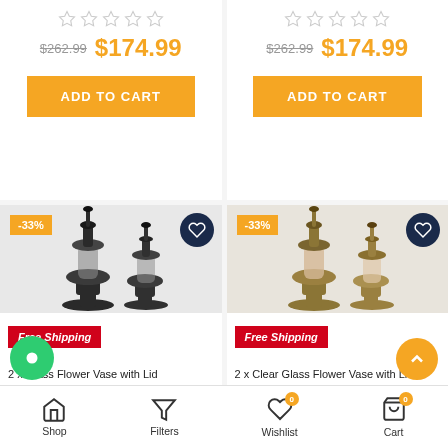[Figure (screenshot): E-commerce product listing page showing two rows of product cards with prices, add to cart buttons, product images of glass flower vases, free shipping badges, and bottom navigation bar]
$262.99 $174.99
ADD TO CART
$262.99 $174.99
ADD TO CART
-33%
-33%
Free Shipping
Free Shipping
2 x Glass Flower Vase with Lid
2 x Clear Glass Flower Vase with Lid
Shop
Filters
Wishlist
Cart